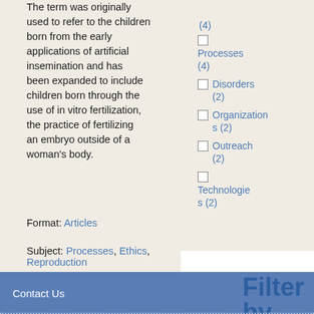The term was originally used to refer to the children born from the early applications of artificial insemination and has been expanded to include children born through the use of in vitro fertilization, the practice of fertilizing an embryo outside of a woman's body.
Format: Articles
Subject: Processes, Ethics, Reproduction
Processes (4)
Disorders (2)
Organizations (2)
Outreach (2)
Technologies (2)
Filter by
Contact Us